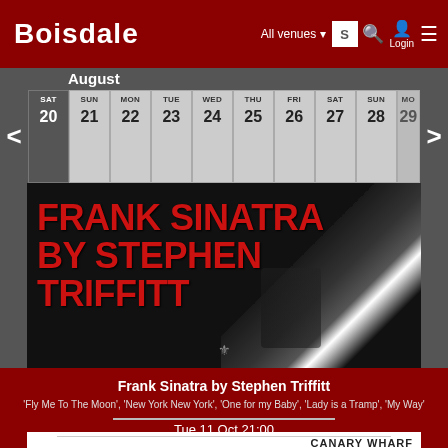BOISDALE | All venues | Login
August
| SAT | SUN | MON | TUE | WED | THU | FRI | SAT | SUN | MON |
| --- | --- | --- | --- | --- | --- | --- | --- | --- | --- |
| 20 | 21 | 22 | 23 | 24 | 25 | 26 | 27 | 28 | 29 |
[Figure (photo): Frank Sinatra by Stephen Triffitt promotional banner with red bold text on dark background]
Frank Sinatra by Stephen Triffitt
'Fly Me To The Moon', 'New York New York', 'One for my Baby', 'Lady is a Tramp', 'My Way'
INFO * VIDEO * BUY TICKETS
Tue 11 Oct 21:00
Boisdale of Canary Wharf Restaurant
[Figure (photo): Canary Wharf venue card bottom partial view]